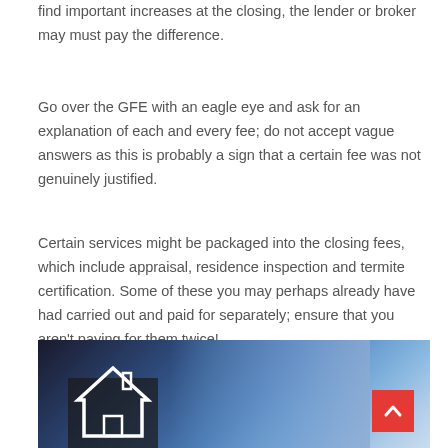find important increases at the closing, the lender or broker may must pay the difference.
Go over the GFE with an eagle eye and ask for an explanation of each and every fee; do not accept vague answers as this is probably a sign that a certain fee was not genuinely justified.
Certain services might be packaged into the closing fees, which include appraisal, residence inspection and termite certification. Some of these you may perhaps already have had carried out and paid for separately; ensure that you aren't paying for them twice!
[Figure (photo): A blurred photo showing a person in a suit and tie with a house icon overlay in the lower left corner, and a red scroll-to-top button in the lower right corner.]